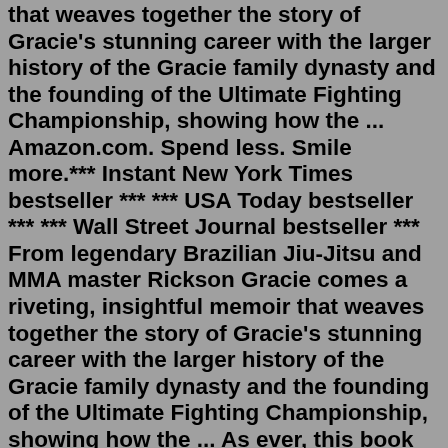that weaves together the story of Gracie's stunning career with the larger history of the Gracie family dynasty and the founding of the Ultimate Fighting Championship, showing how the ... Amazon.com. Spend less. Smile more.*** Instant New York Times bestseller *** *** USA Today bestseller *** *** Wall Street Journal bestseller *** From legendary Brazilian Jiu-Jitsu and MMA master Rickson Gracie comes a riveting, insightful memoir that weaves together the story of Gracie's stunning career with the larger history of the Gracie family dynasty and the founding of the Ultimate Fighting Championship, showing how the ... As ever, this book continues the trend: Thara Celehar needs a hug, but he won't let anyone give him one. That's a pretty succinct summary of this book, but it's a bit unfairly reductive, so let's see what else I can say without spoilering…. This obviously continues in the vein of the previous book about Celehar, and it widens the ...Breath: The New Science of a Lost Art is a 2020 book by author James Nestor. There is nothing more